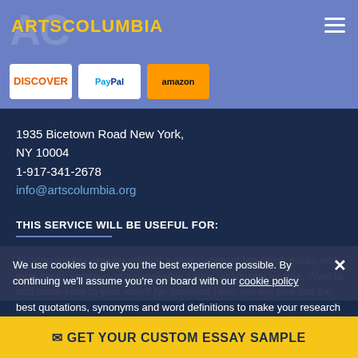ARTSCOLUMBIA
[Figure (logo): Payment icons: Discover, PayPal, Amazon]
1935 Bicetown Road New York,
NY 10004
1-917-341-2678
info@artscolumbia.org
THIS SERVICE WILL BE USEFUL FOR:
At artscolumbia.org you will find a wide variety of top-notch essay and term essay samples on any possible topics, absolutely for free. Want to add some juice to your work? No problem! Here you will also find the best quotations, synonyms and word definitions to make your research
We use cookies to give you the best experience possible. By continuing we'll assume you're on board with our cookie policy
GET YOUR CUSTOM ESSAY SAMPLE